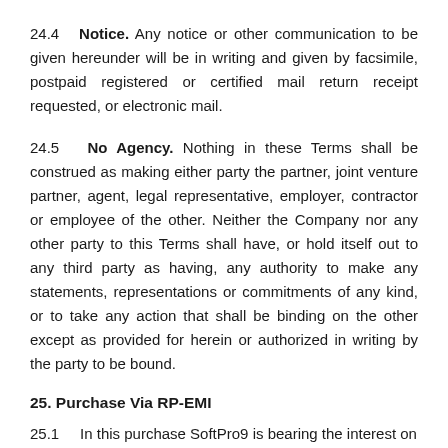24.4  Notice. Any notice or other communication to be given hereunder will be in writing and given by facsimile, postpaid registered or certified mail return receipt requested, or electronic mail.
24.5  No Agency. Nothing in these Terms shall be construed as making either party the partner, joint venture partner, agent, legal representative, employer, contractor or employee of the other. Neither the Company nor any other party to this Terms shall have, or hold itself out to any third party as having, any authority to make any statements, representations or commitments of any kind, or to take any action that shall be binding on the other except as provided for herein or authorized in writing by the party to be bound.
25. Purchase Via RP-EMI
25.1   In this purchase SoftPro9 is bearing the interest on